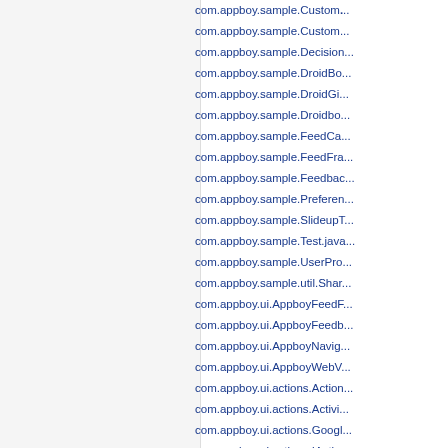com.appboy.sample.Custom...
com.appboy.sample.Custom...
com.appboy.sample.Decision...
com.appboy.sample.DroidBo...
com.appboy.sample.DroidGi...
com.appboy.sample.Droidbo...
com.appboy.sample.FeedCa...
com.appboy.sample.FeedFra...
com.appboy.sample.Feedbac...
com.appboy.sample.Preferen...
com.appboy.sample.SlideupT...
com.appboy.sample.Test.java...
com.appboy.sample.UserPro...
com.appboy.sample.util.Shar...
com.appboy.ui.AppboyFeedF...
com.appboy.ui.AppboyFeedb...
com.appboy.ui.AppboyNavig...
com.appboy.ui.AppboyWebV...
com.appboy.ui.actions.Action...
com.appboy.ui.actions.Activi...
com.appboy.ui.actions.Googl...
com.appboy.ui.actions.IActio...
com.appboy.ui.actions.ViewA...